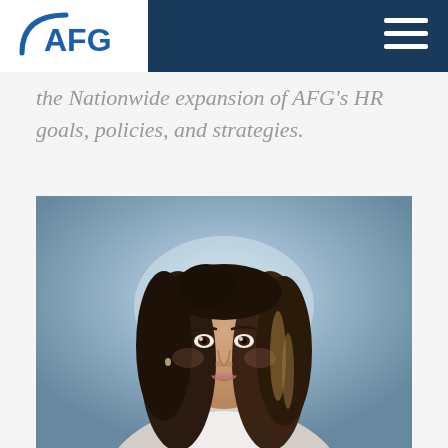AFG logo and navigation header
the Nationwide expansion of AFG's HR goals, policies, and strategies.
[Figure (photo): Professional headshot of a woman with long dark hair with highlights, wearing a light blazer, smiling, blurred background]